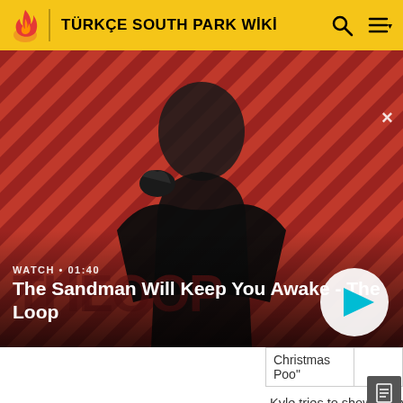TÜRKÇE SOUTH PARK WİKİ
[Figure (screenshot): Video thumbnail showing a man in dark clothing with a raven on his shoulder against a red and black striped background. Text overlay: WATCH • 01:40, The Sandman Will Keep You Awake - The Loop. Play button visible.]
| Christmas Poo" |  |
Kyle tries to show every... Hankey", but no one belie... townspeople remove pot...